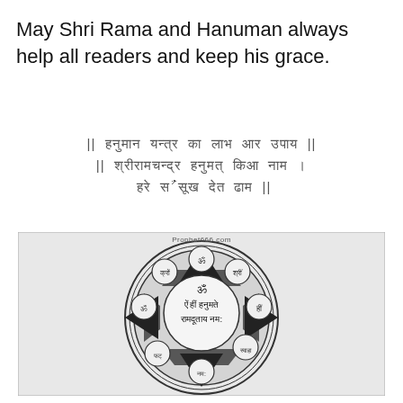May Shri Rama and Hanuman always help all readers and keep his grace.
|| हनुमान यन्त्र || (Sanskrit verse lines in Devanagari script)
[Figure (illustration): A Hanuman yantra diagram — circular mandala with concentric rings, an 8-petal lotus pattern, star/square geometric shapes in black and white, with Devanagari Om symbols on petals and the central mantra 'ॐ ऐं हीं हनुमते रामदूताय नम:'. Watermark reads Prophet666.com.]